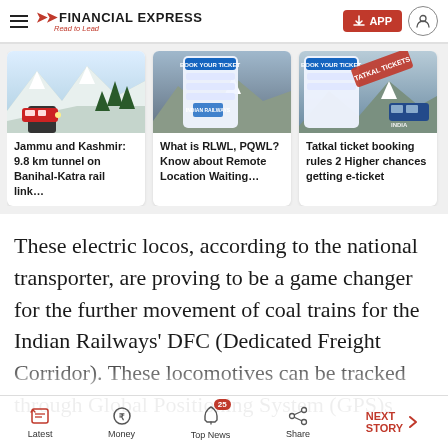FINANCIAL EXPRESS — Read to Lead
[Figure (photo): Card image 1: Train going through snowy mountain tunnel on Banihal-Katra rail link]
Jammu and Kashmir: 9.8 km tunnel on Banihal-Katra rail link…
[Figure (photo): Card image 2: Indian Railways booking screen with mountain background]
What is RLWL, PQWL? Know about Remote Location Waiting…
[Figure (photo): Card image 3: Tatkal tickets booking screen]
Tatkal ticket booking rules 2 Higher chances getting e-ticket
These electric locos, according to the national transporter, are proving to be a game changer for the further movement of coal trains for the Indian Railways' DFC (Dedicated Freight Corridor). These locomotives can be tracked through Global Positioning System (GPS)s
Latest | Money | Top News (25) | Share | NEXT STORY